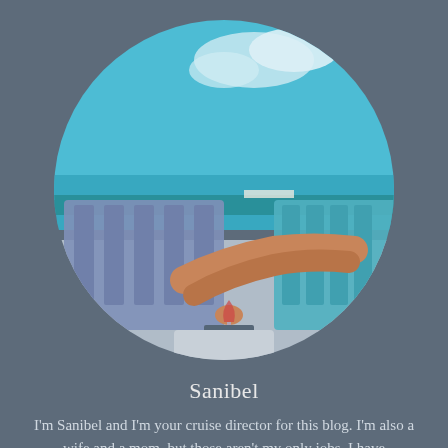[Figure (photo): Circular profile photo of a person relaxing on beach Adirondack chairs with legs up, holding a wine glass, turquoise ocean and blue sky in background]
Sanibel
I'm Sanibel and I'm your cruise director for this blog. I'm also a wife and a mom, but those aren't my only jobs. I have